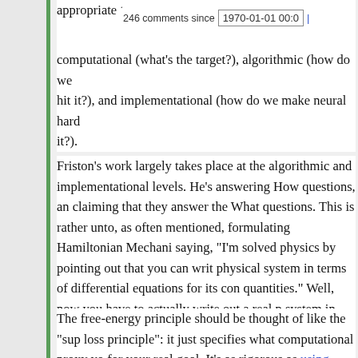The first thing is that we have to create Friston's work in its appropriate to computational (what's the target?), algorithmic (how do we hit it?), and implementational (how do we make neural hardware do it?).
Friston's work largely takes place at the algorithmic and implementational levels. He's answering How questions, and claiming that they answer the What questions. This is rather unto, as often mentioned, formulating Hamiltonian Mechanics and saying, "I'm solved physics by pointing out that you can write any physical system in terms of differential equations for its conserved quantities." Well, now you have to actually write out a real physical system in those terms, don't you? What you've invented is a language for talking about the things you aim to explain.
The free-energy principle should be thought of like the "super loss principle": it just specifies what computational proxy you for your real goal. It's as rigorous as using probabilistic prog